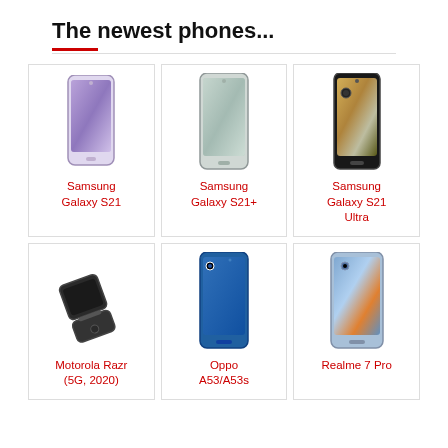The newest phones...
[Figure (photo): Samsung Galaxy S21 phone image]
Samsung Galaxy S21
[Figure (photo): Samsung Galaxy S21+ phone image]
Samsung Galaxy S21+
[Figure (photo): Samsung Galaxy S21 Ultra phone image]
Samsung Galaxy S21 Ultra
[Figure (photo): Motorola Razr (5G, 2020) phone image]
Motorola Razr (5G, 2020)
[Figure (photo): Oppo A53/A53s phone image]
Oppo A53/A53s
[Figure (photo): Realme 7 Pro phone image]
Realme 7 Pro